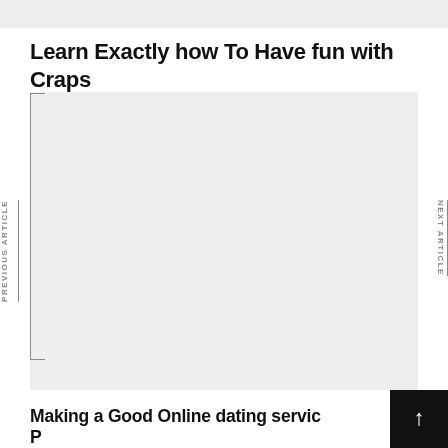Learn Exactly how To Have fun with Craps
[Figure (other): Large gray placeholder image area for article about craps]
Making a Good Online dating service Profile